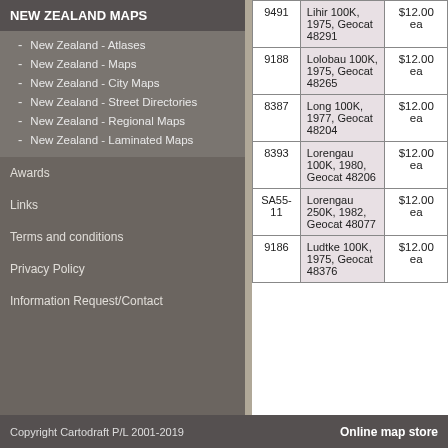NEW ZEALAND MAPS
New Zealand - Atlases
New Zealand - Maps
New Zealand - City Maps
New Zealand - Street Directories
New Zealand - Regional Maps
New Zealand - Laminated Maps
Awards
Links
Terms and conditions
Privacy Policy
Information Request/Contact
| Code | Description | Price |
| --- | --- | --- |
| 9491 | Lihir 100K, 1975, Geocat 48291 | $12.00 ea |
| 9188 | Lolobau 100K, 1975, Geocat 48265 | $12.00 ea |
| 8387 | Long 100K, 1977, Geocat 48204 | $12.00 ea |
| 8393 | Lorengau 100K, 1980, Geocat 48206 | $12.00 ea |
| SA55-11 | Lorengau 250K, 1982, Geocat 48077 | $12.00 ea |
| 9186 | Ludtke 100K, 1975, Geocat 48376 | $12.00 ea |
Copyright Cartodraft P/L 2001-2019    Online map store